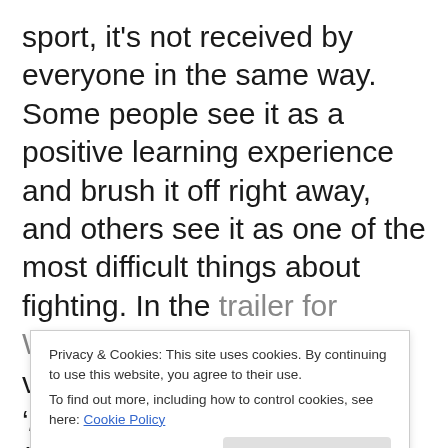sport, it's not received by everyone in the same way. Some people see it as a positive learning experience and brush it off right away, and others see it as one of the most difficult things about fighting. In the trailer for Warriors of the Mongkon, a voice can be heard saying 'losing a fight is probably the hardest thing you're gonna go through'. It's difficult to argue with that, but personally, I've never considered a loss to be a big deal, and certainly not a tragedy. That might b... f... s... b... second fight, and experiencing that feeling very
Privacy & Cookies: This site uses cookies. By continuing to use this website, you agree to their use.
To find out more, including how to control cookies, see here: Cookie Policy